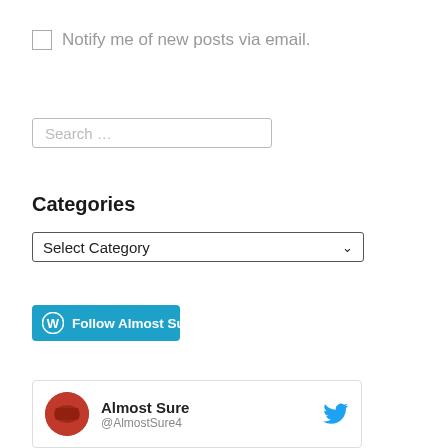Notify me of new posts via email.
[Figure (other): Search input field with placeholder text 'Search …']
Categories
[Figure (other): Dropdown select box labeled 'Select Category']
[Figure (other): WordPress Follow button with label 'Follow Almost Sure']
[Figure (other): Twitter card widget showing 'Almost Sure' account with Twitter bird logo and circular avatar]